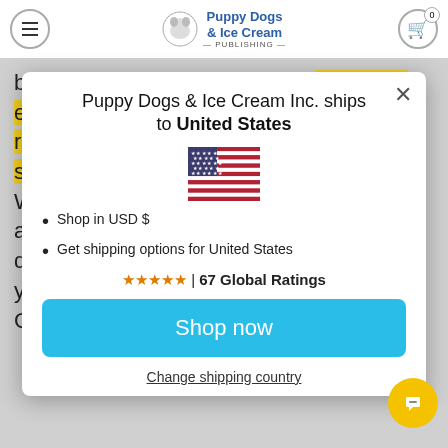Puppy Dogs & Ice Cream Publishing
be grateful for them every day. The story expresses the everlasting respect, kindness, and admiration that one should always have for their elders. Whether it's a simple phone call, planning a home-cooked dinner, or just spending quality time together, this book will remind your children about the true blessing Grandparents are.
Puppy Dogs & Ice Cream Inc. ships to United States
Shop in USD $
Get shipping options for United States
★★★★★ | 67 Global Ratings
Shop now
Change shipping country